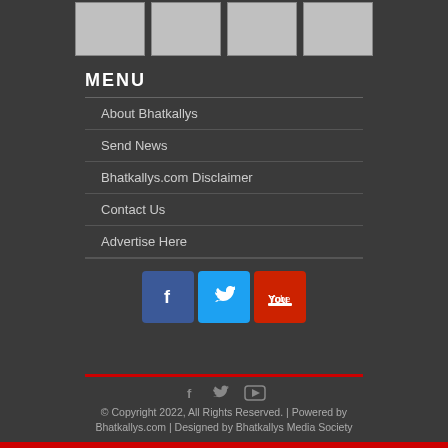[Figure (photo): Four white/light grey thumbnail image placeholders in a horizontal row]
MENU
About Bhatkallys
Send News
Bhatkallys.com Disclaimer
Contact Us
Advertise Here
[Figure (logo): Social media icons: Facebook (blue), Twitter (cyan), YouTube (red)]
© Copyright 2022, All Rights Reserved. | Powered by Bhatkallys.com | Designed by Bhatkallys Media Society